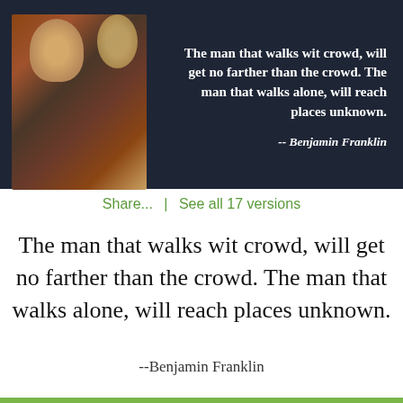[Figure (illustration): Dark blue banner with a classical painting of Benjamin Franklin on the left and a bold white quote on the right]
Share...  |  See all 17 versions
The man that walks wit crowd, will get no farther than the crowd. The man that walks alone, will reach places unknown.
--Benjamin Franklin